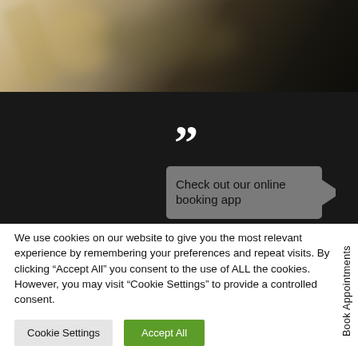[Figure (photo): Blurred dark background photo with bokeh effect, dark and gold tones, possibly showing metallic or glass objects out of focus]
Check out our online booking app
We use cookies on our website to give you the most relevant experience by remembering your preferences and repeat visits. By clicking "Accept All" you consent to the use of ALL the cookies. However, you may visit "Cookie Settings" to provide a controlled consent.
Cookie Settings
Accept All
Book Appointments